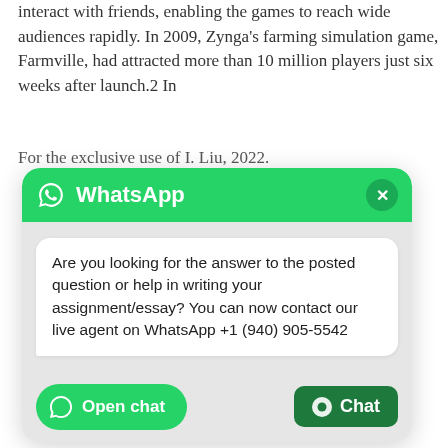interact with friends, enabling the games to reach wide audiences rapidly. In 2009, Zynga's farming simulation game, Farmville, had attracted more than 10 million players just six weeks after launch.2 In
For the exclusive use of I. Liu, 2022.
[Figure (screenshot): WhatsApp chat popup overlay with green header showing WhatsApp logo and name, a white speech bubble message reading 'Are you looking for the answer to the posted question or help in writing your assignment/essay? You can now contact our live agent on WhatsApp +1 (940) 905-5542', and footer buttons 'Open chat' and 'Chat']